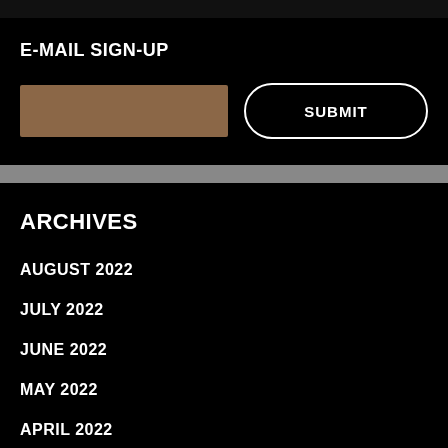E-MAIL SIGN-UP
SUBMIT
ARCHIVES
AUGUST 2022
JULY 2022
JUNE 2022
MAY 2022
APRIL 2022
MARCH 2022